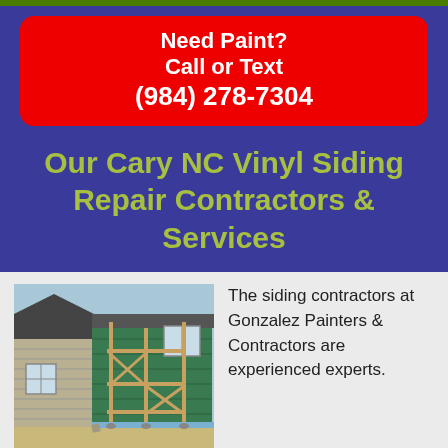Need Paint? Call or Text (984) 278-7304
Our Cary NC Vinyl Siding Repair Contractors & Services
[Figure (photo): A building under construction with green siding/wrap and wooden scaffolding erected on the side]
The siding contractors at Gonzalez Painters & Contractors are experienced experts. With more than a decade of providing